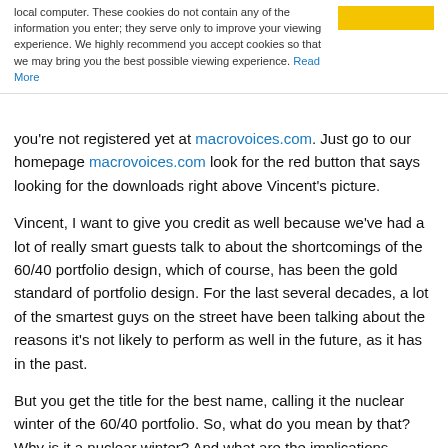local computer. These cookies do not contain any of the information you enter; they serve only to improve your viewing experience. We highly recommend you accept cookies so that we may bring you the best possible viewing experience. Read More
you're not registered yet at macrovoices.com. Just go to our homepage macrovoices.com look for the red button that says looking for the downloads right above Vincent's picture.
Vincent, I want to give you credit as well because we've had a lot of really smart guests talk to about the shortcomings of the 60/40 portfolio design, which of course, has been the gold standard of portfolio design. For the last several decades, a lot of the smartest guys on the street have been talking about the reasons it's not likely to perform as well in the future, as it has in the past.
But you get the title for the best name, calling it the nuclear winter of the 60/40 portfolio. So, what do you mean by that? Why is it a nuclear winter? And what are the implications because it's really what almost the entire industry recommends to most individual investors.
Vincent: Well, thank you for the kind words. So if you start on